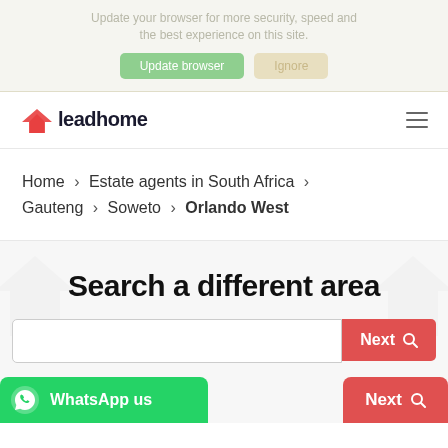Update your browser for more security, speed and the best experience on this site.
Update browser | Ignore
[Figure (logo): Leadhome logo with red roof/arrow icon and dark blue text]
Home > Estate agents in South Africa > Gauteng > Soweto > Orlando West
Search a different area
WhatsApp us
Next